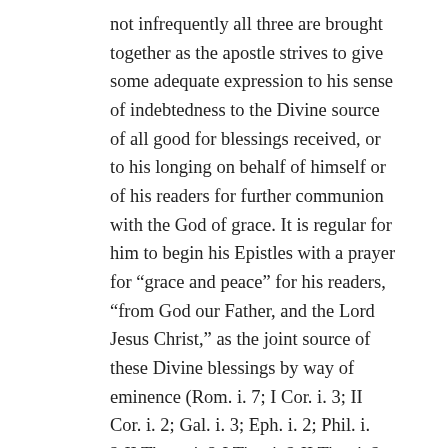not infrequently all three are brought together as the apostle strives to give some adequate expression to his sense of indebtedness to the Divine source of all good for blessings received, or to his longing on behalf of himself or of his readers for further communion with the God of grace. It is regular for him to begin his Epistles with a prayer for “grace and peace” for his readers, “from God our Father, and the Lord Jesus Christ,” as the joint source of these Divine blessings by way of eminence (Rom. i. 7; I Cor. i. 3; II Cor. i. 2; Gal. i. 3; Eph. i. 2; Phil. i. 2;II Thess. i. 2;I Tim. i. 2;II Tim. i. 2; Philem. ver. 3; cf. I Thess. i. 1). It is obviously no departure from this habit in the essence of the matter, but only in relative fullness of expression, when in the opening words of the Epistle to the Colossians the clause “and the Lord Jesus Christ” is omitted, and we read merely: “Grace to you and peace from God our Father.” So also it would have been no departure from it in the essence of the matter, but only in relative